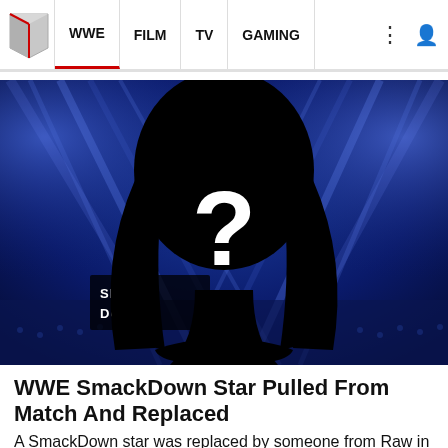WWE | FILM | TV | GAMING
[Figure (photo): Black silhouette of a female figure with long wavy hair against a WWE SmackDown arena backdrop with blue lighting and a large white question mark on the silhouette's face]
WWE SmackDown Star Pulled From Match And Replaced
A SmackDown star was replaced by someone from Raw in